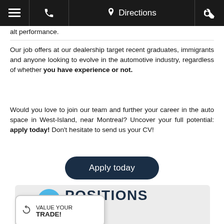≡  ☎  ⟨pin⟩ Directions  🔧
alt performance.
Our job offers at our dealership target recent graduates, immigrants and anyone looking to evolve in the automotive industry, regardless of whether you have experience or not.
Would you love to join our team and further your career in the auto space in West-Island, near Montreal? Uncover your full potential: apply today! Don't hesitate to send us your CV!
Apply today
POSITIONS
ABLE
VALUE YOUR TRADE!